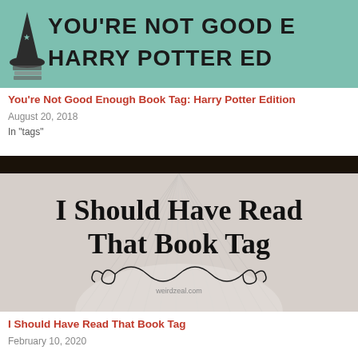[Figure (illustration): Book tag image with teal/mint background showing partial text: YOU'RE NOT GOOD ENOUGH / HARRY POTTER ED with a wizard hat icon on left side]
You're Not Good Enough Book Tag: Harry Potter Edition
August 20, 2018
In "tags"
[Figure (illustration): I Should Have Read That Book Tag image with an open book background showing text in serif font and decorative swirl ornament, watermark weirdzeal.com]
I Should Have Read That Book Tag
February 10, 2020